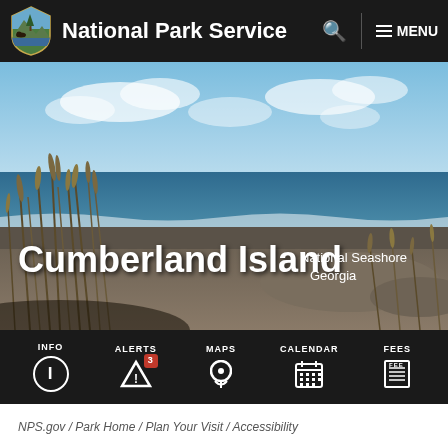National Park Service   MENU
[Figure (photo): Beach scene at Cumberland Island National Seashore showing sea oats in foreground, sandy beach, ocean waves, and blue sky with clouds. Text overlay reads Cumberland Island National Seashore Georgia.]
INFO  ALERTS 3  MAPS  CALENDAR  FEES
NPS.gov / Park Home / Plan Your Visit / Accessibility
Accessibility